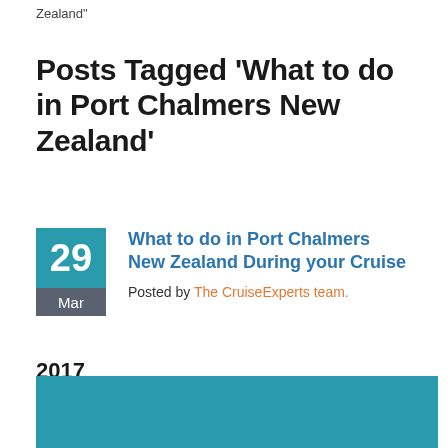Zealand"
Posts Tagged ‘What to do in Port Chalmers New Zealand’
What to do in Port Chalmers New Zealand During your Cruise
Posted by The CruiseExperts team.
2017
[Figure (photo): Teal colored image block, partially visible at bottom of page]